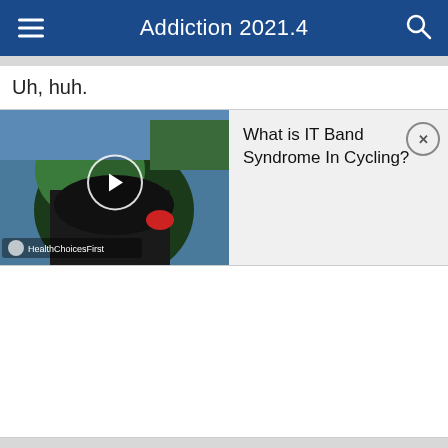Addiction 2021.4
Uh, huh.
[Figure (screenshot): Embedded video thumbnail showing a cyclist riding, with a play button overlay. Channel: HealthChoicesFirst. Beside it is a panel reading 'What is IT Band Syndrome In Cycling?' with an X close button.]
datlas , 11-29-21 09:35 AM
Beyond Bogus
#7888